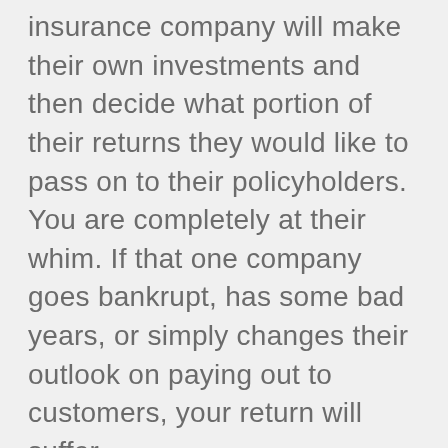insurance company will make their own investments and then decide what portion of their returns they would like to pass on to their policyholders. You are completely at their whim. If that one company goes bankrupt, has some bad years, or simply changes their outlook on paying out to customers, your return will suffer.
Putting a large amount of your eggs in this single basket exposes you to a large amount of risk from a single company and sacrifices the basic principle of diversification. This isn't